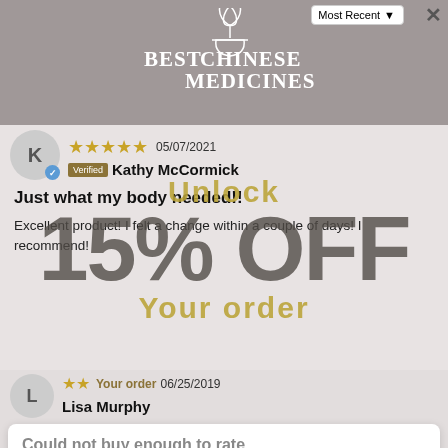[Figure (screenshot): Best Chinese Medicines logo with plant/mortar icon in white]
Most Recent ▼
✕
05/07/2021
Verified  Kathy McCormick
Just what my body needed!!
Excellent product! I felt a change within a couple of days! I recommend!
[Figure (infographic): Large promotional overlay text reading 'Unlock 15% OFF Your order']
★★ 06/25/2019
Lisa Murphy
Could not buy enough to rate
I bought this but could only get 1 box, they only had 1 available but in the few days I had it I definitely felt better. It's a shame I could not get more.
Your Email